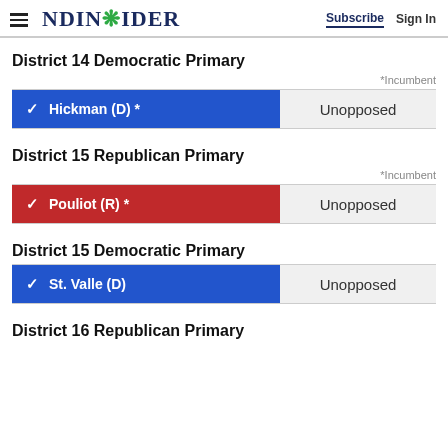NDINSiDER  Subscribe  Sign In
District 14 Democratic Primary
*Incumbent
| Candidate | Result |
| --- | --- |
| ✓ Hickman (D) * | Unopposed |
District 15 Republican Primary
*Incumbent
| Candidate | Result |
| --- | --- |
| ✓ Pouliot (R) * | Unopposed |
District 15 Democratic Primary
| Candidate | Result |
| --- | --- |
| ✓ St. Valle (D) | Unopposed |
District 16 Republican Primary